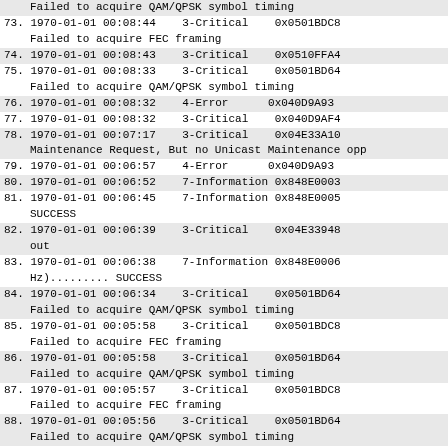Failed to acquire QAM/QPSK symbol timing
73. 1970-01-01 00:08:44    3-Critical    0x0501BDC8
    Failed to acquire FEC framing
74. 1970-01-01 00:08:43    3-Critical    0x0510FFA4
75. 1970-01-01 00:08:33    3-Critical    0x0501BD64
    Failed to acquire QAM/QPSK symbol timing
76. 1970-01-01 00:08:32    4-Error       0x040D9A93
77. 1970-01-01 00:08:32    3-Critical    0x040D9AF4
78. 1970-01-01 00:07:17    3-Critical    0x04E33A10
    Maintenance Request, But no Unicast Maintenance opp
79. 1970-01-01 00:06:57    4-Error       0x040D9A93
80. 1970-01-01 00:06:52    7-Information 0x848E0003
81. 1970-01-01 00:06:45    7-Information 0x848E0005
    SUCCESS
82. 1970-01-01 00:06:39    3-Critical    0x04E33948
    out
83. 1970-01-01 00:06:38    7-Information 0x848E0006
    Hz)......... SUCCESS
84. 1970-01-01 00:06:34    3-Critical    0x0501BD64
    Failed to acquire QAM/QPSK symbol timing
85. 1970-01-01 00:05:58    3-Critical    0x0501BDC8
    Failed to acquire FEC framing
86. 1970-01-01 00:05:58    3-Critical    0x0501BD64
    Failed to acquire QAM/QPSK symbol timing
87. 1970-01-01 00:05:57    3-Critical    0x0501BDC8
    Failed to acquire FEC framing
88. 1970-01-01 00:05:56    3-Critical    0x0501BD64
    Failed to acquire QAM/QPSK symbol timing
89. 1970-01-01 00:05:54    3-Critical    0x0501BDC8